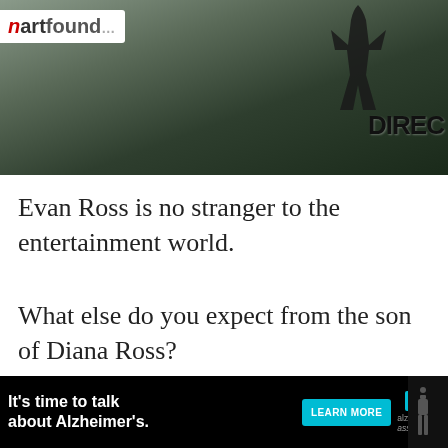[Figure (photo): Photo of Evan Ross at an event, with 'hartfound' banner visible and 'DIREC' text in background]
Evan Ross is no stranger to the entertainment world.
What else do you expect from the son of Diana Ross?
While he first appeared in the television movie Shelly Fisher in 1999, his first big role was in the 2006 film ATL.
[Figure (infographic): Advertisement bar: It's time to talk about Alzheimer's. LEARN MORE button. Alzheimer's association logo with X close button.]